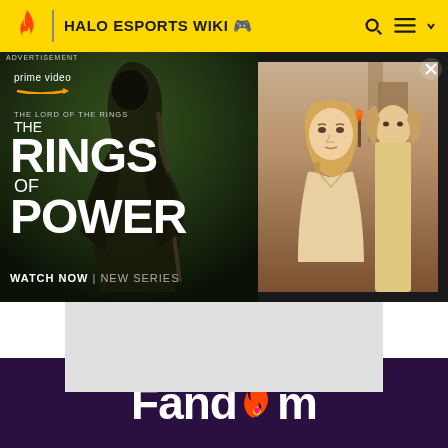HALO ESPORTS WIKI
[Figure (screenshot): Amazon Prime Video advertisement for The Lord of the Rings: The Rings of Power. Left panel shows dark fantasy scene with hooded figure, Prime Video logo, show title text. Right panel shows blonde woman and man in light-colored robes.]
ADVERTISEMENT
[Figure (logo): Fandom logo in white text with flame icon on dark purple background]